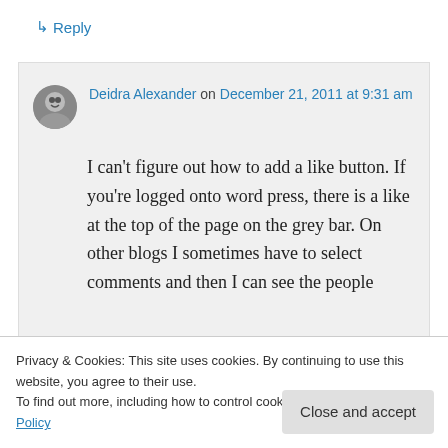↳ Reply
Deidra Alexander on December 21, 2011 at 9:31 am
I can't figure out how to add a like button. If you're logged onto word press, there is a like at the top of the page on the grey bar. On other blogs I sometimes have to select comments and then I can see the people
Privacy & Cookies: This site uses cookies. By continuing to use this website, you agree to their use. To find out more, including how to control cookies, see here: Cookie Policy
Close and accept